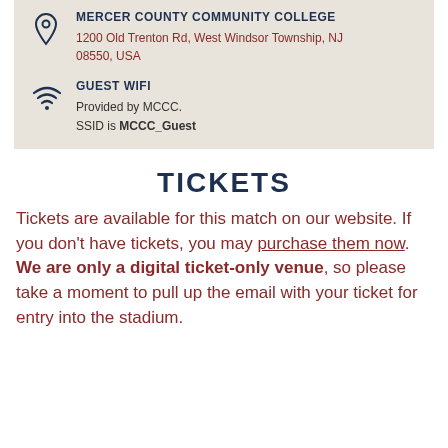MERCER COUNTY COMMUNITY COLLEGE
1200 Old Trenton Rd, West Windsor Township, NJ 08550, USA
GUEST WIFI
Provided by MCCC.
SSID is MCCC_Guest
TICKETS
Tickets are available for this match on our website. If you don't have tickets, you may purchase them now. We are only a digital ticket-only venue, so please take a moment to pull up the email with your ticket for entry into the stadium.